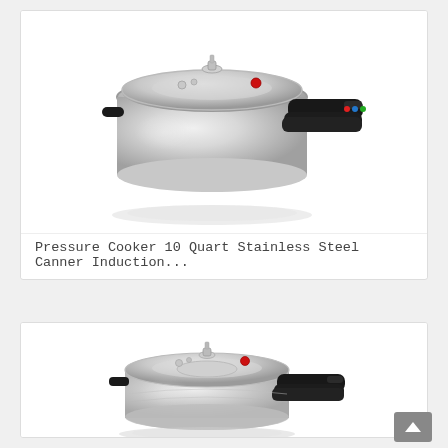[Figure (photo): Stainless steel pressure cooker with black handle, 10 quart, viewed from slightly above and to the side, with glossy silver finish and safety valve on top]
Pressure Cooker 10 Quart Stainless Steel Canner Induction...
[Figure (photo): Second stainless steel pressure cooker, similar style with black handle and lid, viewed from a slightly lower angle, with shadow/reflection on white surface]